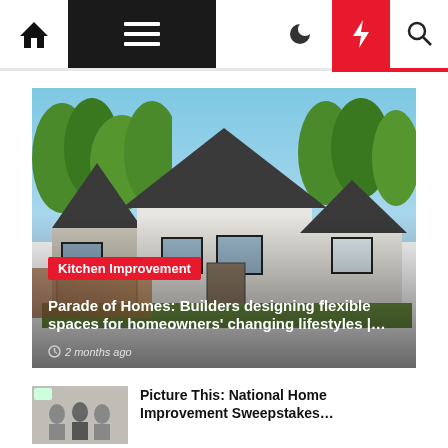Navigation bar with home, menu, moon, bolt, and search icons
[Figure (photo): Modern farmhouse style home with dark roof, white siding, black trim windows, green trees behind, blue sky. Category badge 'Kitchen Improvement' overlaid in red. Title: 'Parade of Homes: Builders designing flexible spaces for homeowners' changing lifestyles |…'. Timestamp: '2 months ago'.]
Kitchen Improvement
Parade of Homes: Builders designing flexible spaces for homeowners' changing lifestyles |…
2 months ago
Picture This: National Home Improvement Sweepstakes…